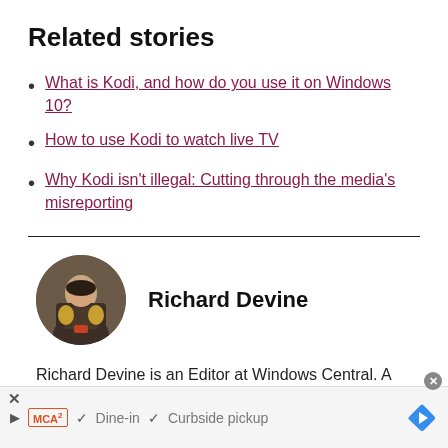Related stories
What is Kodi, and how do you use it on Windows 10?
How to use Kodi to watch live TV
Why Kodi isn't illegal: Cutting through the media's misreporting
[Figure (photo): Circular avatar photo of Richard Devine]
Richard Devine
Richard Devine is an Editor at Windows Central. A
[Figure (infographic): Ad bar at bottom: play icon, MCA logo, Dine-in, Curbside pickup, arrow navigation icon]